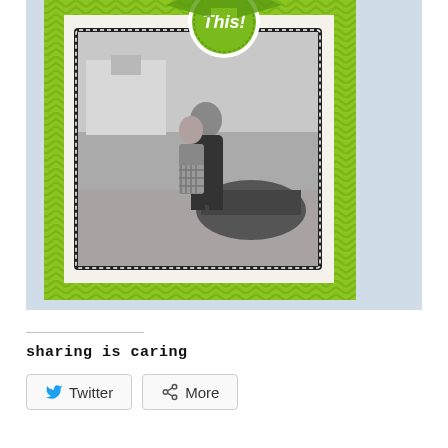[Figure (photo): A handmade greeting card with green chevron patterned paper border and white scalloped edge on the right. A black and white vintage photograph of two people embracing outdoors near a building and car is mounted in the center with a stitched black border on white cardstock. At the top of the card is a green circular badge with white text reading 'This!'. The card is displayed on a light blue/gray background.]
sharing is caring
Twitter
More